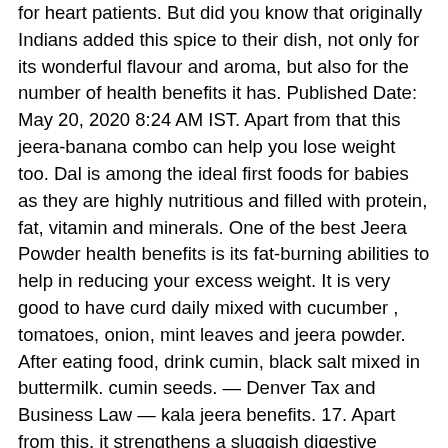for heart patients. But did you know that originally Indians added this spice to their dish, not only for its wonderful flavour and aroma, but also for the number of health benefits it has. Published Date: May 20, 2020 8:24 AM IST. Apart from that this jeera-banana combo can help you lose weight too. Dal is among the ideal first foods for babies as they are highly nutritious and filled with protein, fat, vitamin and minerals. One of the best Jeera Powder health benefits is its fat-burning abilities to help in reducing your excess weight. It is very good to have curd daily mixed with cucumber , tomatoes, onion, mint leaves and jeera powder. After eating food, drink cumin, black salt mixed in buttermilk. cumin seeds. — Denver Tax and Business Law — kala jeera benefits. 17. Apart from this, it strengthens a sluggish digestive system. This can stop diarrhea. This not only helps insomniacs naturally it is not addictive in nature like synthetic drugs. Once the water turns brown, turn off the gas and cover the vessel.

-Cumin powder recipe - Roasted cumin powder-Jeera powder - Duration: 3:14. Now that you know the benefits of curd and how to use it for getting perfect skin, use it daily and say bye-bye to skin blemishes. These compounds soothe